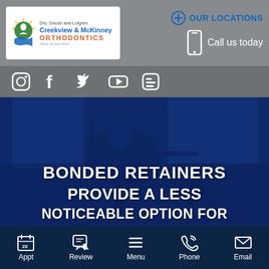[Figure (logo): Drs. Ghosh and Lofgren Creekview & McKinney Orthodontics logo with green/blue icon]
OUR LOCATIONS
Call us today
[Figure (other): Social media icons: Instagram, Facebook, Twitter, YouTube, Blogger]
[Figure (photo): Blue-tinted dental office interior with dental chair in background]
BONDED RETAINERS PROVIDE A LESS NOTICEABLE OPTION FOR
Appt   Review   Menu   Phone   Email